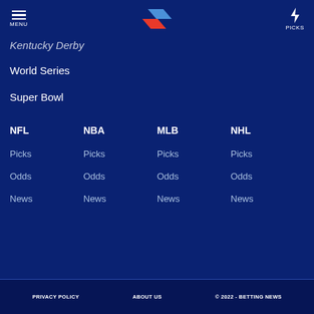MENU | [logo] | PICKS
Kentucky Derby
World Series
Super Bowl
NFL  NBA  MLB  NHL
Picks  Picks  Picks  Picks
Odds  Odds  Odds  Odds
News  News  News  News
PRIVACY POLICY   ABOUT US   © 2022 - BETTING NEWS